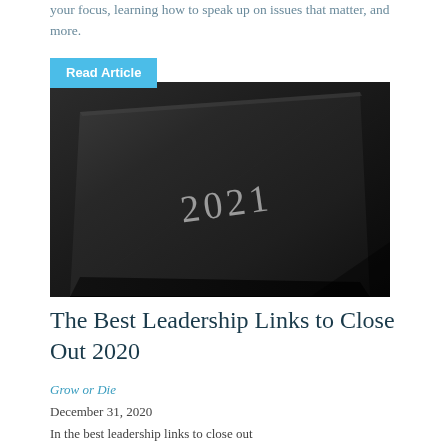your focus, learning how to speak up on issues that matter, and more.
Read Article
[Figure (photo): Dark leather notebook with '2021' embossed on the cover in white text, photographed close-up at an angle on a dark background.]
The Best Leadership Links to Close Out 2020
Grow or Die
December 31, 2020
In the best leadership links to close out